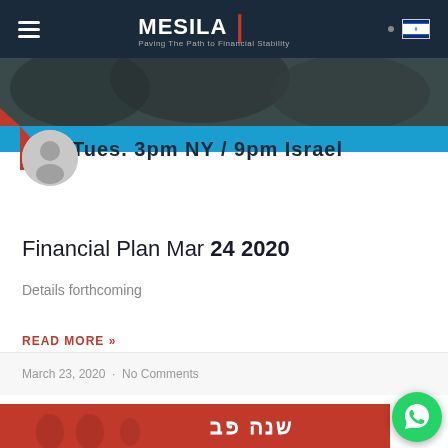MESILA [logo] navigation bar
[Figure (photo): Banner image showing a webinar/event advertisement with text 'Tues. 3pm NY / 9pm Israel' on a blue and dark background with mountains]
[Figure (illustration): Circular grey avatar/user profile icon]
Financial Plan Mar 24 2020
Details forthcoming
READ MORE »
March 23, 2020  ·  No Comments
[Figure (photo): Partial peek of next article card with red background and Hebrew/graphical content]